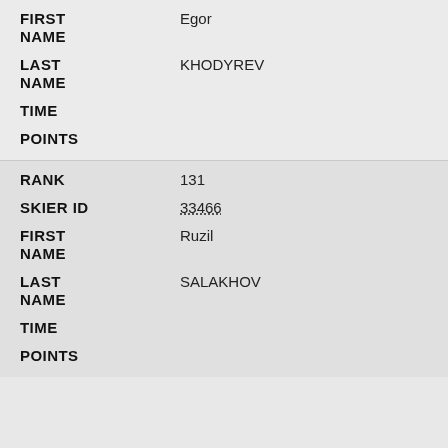| Field | Value |
| --- | --- |
| FIRST NAME | Egor |
| LAST NAME | KHODYREV |
| TIME |  |
| POINTS |  |
| RANK | 131 |
| SKIER ID | 33466 |
| FIRST NAME | Ruzil |
| LAST NAME | SALAKHOV |
| TIME |  |
| POINTS |  |